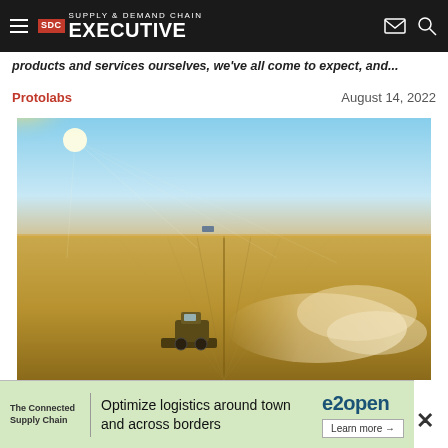Supply & Demand Chain Executive
products and services ourselves, we've all come to expect, and...
Protolabs    August 14, 2022
[Figure (photo): Aerial view of a combine harvester working in a large wheat field, raising dust, with blue sky and sun in background.]
[Figure (infographic): e2open advertisement banner: The Connected Supply Chain - Optimize logistics around town and across borders - Learn more arrow]